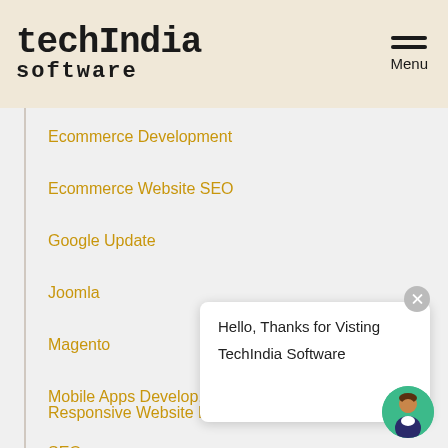[Figure (logo): TechIndia Software logo with stylized bold text on beige background]
Ecommerce Development
Ecommerce Website SEO
Google Update
Joomla
Magento
Mobile Apps Development
Responsive Website Design
SEO
Hello, Thanks for Visting TechIndia Software
[Figure (illustration): Chat avatar: green circle with person icon]